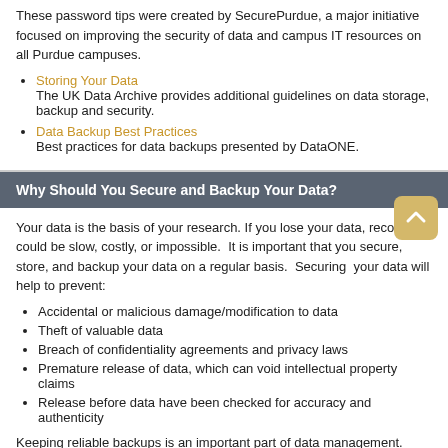These password tips were created by SecurePurdue, a major initiative focused on improving the security of data and campus IT resources on all Purdue campuses.
Storing Your Data
The UK Data Archive provides additional guidelines on data storage, backup and security.
Data Backup Best Practices
Best practices for data backups presented by DataONE.
Why Should You Secure and Backup Your Data?
Your data is the basis of your research. If you lose your data, recovery could be slow, costly, or impossible.  It is important that you secure, store, and backup your data on a regular basis.  Securing  your data will help to prevent:
Accidental or malicious damage/modification to data
Theft of valuable data
Breach of confidentiality agreements and privacy laws
Premature release of data, which can void intellectual property claims
Release before data have been checked for accuracy and authenticity
Keeping reliable backups is an important part of data management. Regular backups protect against the risk of damage or loss due to hardware failure,